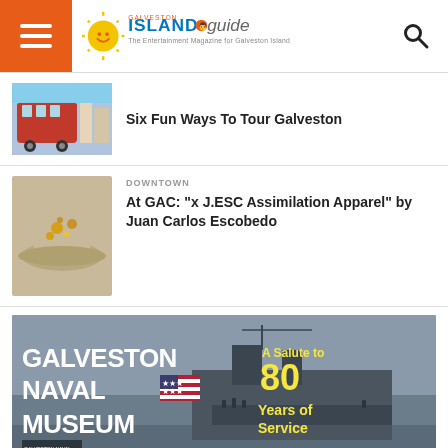Galveston Island Guide - The Entertainment Magazine for Galveston Island
Six Fun Ways To Tour Galveston
DOWNTOWN
At GAC: "x J.ESC Assimilation Apparel" by Juan Carlos Escobedo
[Figure (photo): Advertisement for Galveston Naval Museum with text 'A Salute to 80 Years of Service' and social media icons, showing a warship in black and white background]